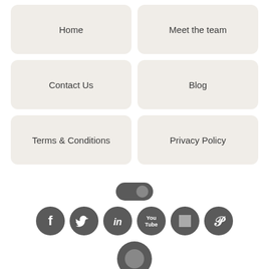Home
Meet the team
Contact Us
Blog
Terms & Conditions
Privacy Policy
[Figure (infographic): Social media icon row: YouTube pill/toggle at top, then Facebook, Twitter, LinkedIn, YouTube, a square icon, Pinterest circles in a row, and an oval/pill shape at bottom]